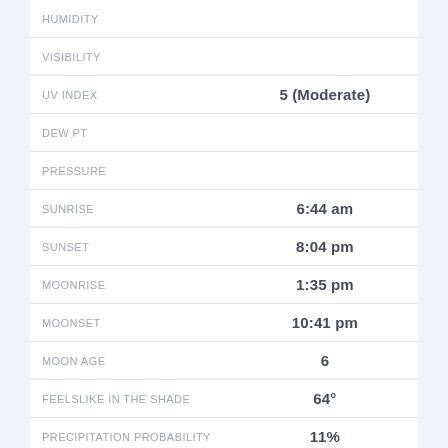| Label | Value |
| --- | --- |
| HUMIDITY |  |
| VISIBILITY |  |
| UV INDEX | 5 (Moderate) |
| DEW PT |  |
| PRESSURE |  |
| SUNRISE | 6:44 am |
| SUNSET | 8:04 pm |
| MOONRISE | 1:35 pm |
| MOONSET | 10:41 pm |
| MOON AGE | 6 |
| FEELSLIKE IN THE SHADE | 64° |
| PRECIPITATION PROBABILITY | 11% |